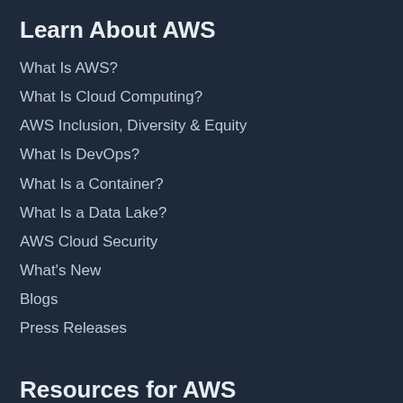Learn About AWS
What Is AWS?
What Is Cloud Computing?
AWS Inclusion, Diversity & Equity
What Is DevOps?
What Is a Container?
What Is a Data Lake?
AWS Cloud Security
What's New
Blogs
Press Releases
Resources for AWS
Getting Started
Training and Certification
AWS Solutions Portfolio